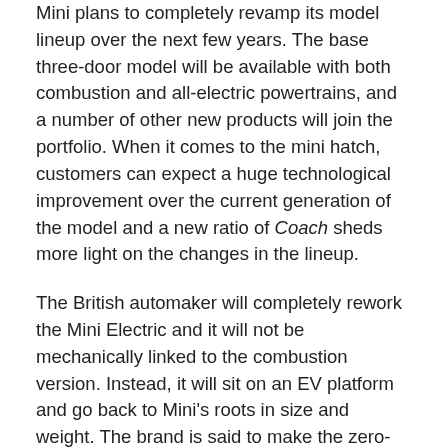Mini plans to completely revamp its model lineup over the next few years. The base three-door model will be available with both combustion and all-electric powertrains, and a number of other new products will join the portfolio. When it comes to the mini hatch, customers can expect a huge technological improvement over the current generation of the model and a new ratio of Coach sheds more light on the changes in the lineup.
The British automaker will completely rework the Mini Electric and it will not be mechanically linked to the combustion version. Instead, it will sit on an EV platform and go back to Mini's roots in size and weight. The brand is said to make the zero-emissions hatch a bit shorter than the outgoing model thanks to a shorter front overhang. The wheelbase, meanwhile, will increase slightly by about 1.57 inches (40 millimeters).
17 Pictures